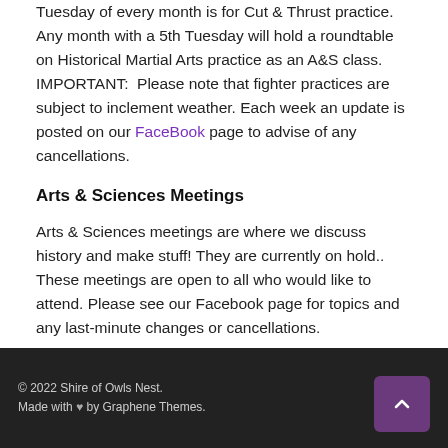Tuesday of every month is for Cut & Thrust practice. Any month with a 5th Tuesday will hold a roundtable on Historical Martial Arts practice as an A&S class. IMPORTANT:  Please note that fighter practices are subject to inclement weather. Each week an update is posted on our FaceBook page to advise of any cancellations.
Arts & Sciences Meetings
Arts & Sciences meetings are where we discuss history and make stuff! They are currently on hold.. These meetings are open to all who would like to attend. Please see our Facebook page for topics and any last-minute changes or cancellations.
© 2022 Shire of Owls Nest. Made with ♥ by Graphene Themes.